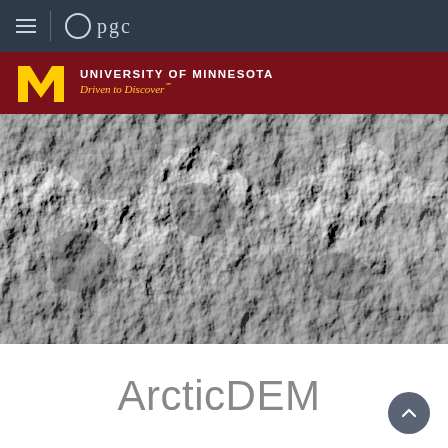pgc
[Figure (logo): University of Minnesota logo with M icon, maroon background, text: UNIVERSITY OF MINNESOTA Driven to Discover℠]
[Figure (photo): Grayscale hillshade digital elevation model (DEM) showing rugged Arctic terrain with ridges, valleys and snow patches]
ArcticDEM